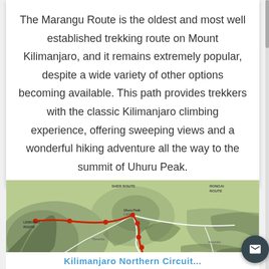The Marangu Route is the oldest and most well established trekking route on Mount Kilimanjaro, and it remains extremely popular, despite a wide variety of other options becoming available. This path provides trekkers with the classic Kilimanjaro climbing experience, offering sweeping views and a wonderful hiking adventure all the way to the summit of Uhuru Peak.
[Figure (map): Topographic map of Mount Kilimanjaro showing trekking routes including the Marangu Route, marked with a red line. White lines show other routes. Green terrain with mountain relief shading. Labels include Marangu Route, Lemosho Route, Rongai Route, Umbwe Route, Machame Route, and summit Uhuru Peak/Kibo.]
Kilimanjaro Northern Circuit...